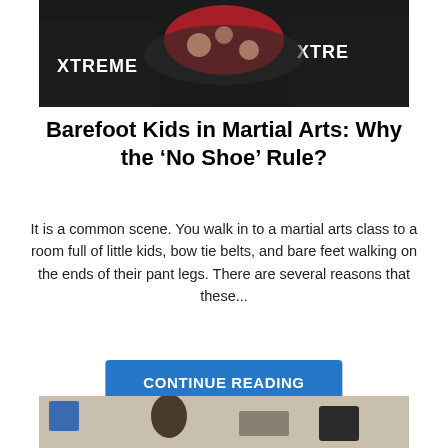[Figure (photo): Group of children in black 'XTREME' martial arts uniforms practicing together, seen from above/behind]
Barefoot Kids in Martial Arts: Why the ‘No Shoe’ Rule?
It is a common scene. You walk in to a martial arts class to a room full of little kids, bow tie belts, and bare feet walking on the ends of their pant legs. There are several reasons that these...
CONTINUE READING
[Figure (photo): Partial view of a second photo at the bottom of the page showing people in a martial arts setting]